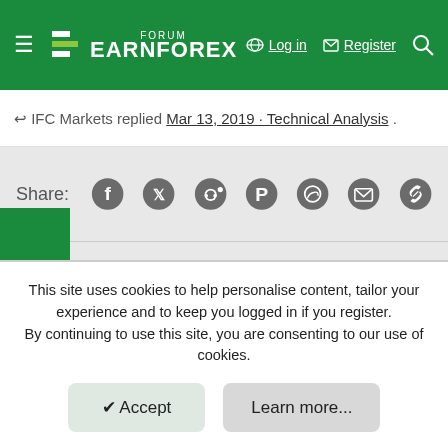FORUM EARNFOREX — Log in  Register
IFC Markets replied Mar 13, 2019 · Technical Analysis
Share: (social icons: Facebook, Twitter, Reddit, Pinterest, WhatsApp, Email, Link)
Contact us   Terms and rules   Privacy policy   Help   EarnForex.com
This site uses cookies to help personalise content, tailor your experience and to keep you logged in if you register. By continuing to use this site, you are consenting to our use of cookies.
Accept   Learn more...